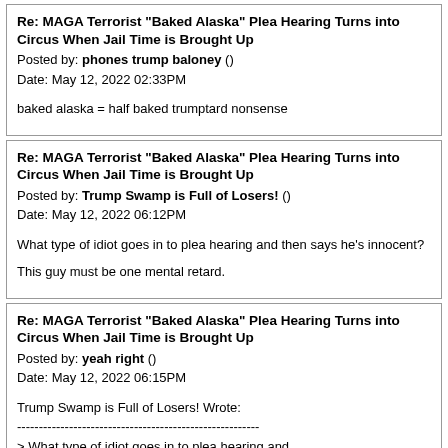Re: MAGA Terrorist "Baked Alaska" Plea Hearing Turns into Circus When Jail Time is Brought Up
Posted by: phones trump baloney ()
Date: May 12, 2022 02:33PM

baked alaska = half baked trumptard nonsense
Re: MAGA Terrorist "Baked Alaska" Plea Hearing Turns into Circus When Jail Time is Brought Up
Posted by: Trump Swamp is Full of Losers! ()
Date: May 12, 2022 06:12PM

What type of idiot goes in to plea hearing and then says he's innocent?

This guy must be one mental retard.
Re: MAGA Terrorist "Baked Alaska" Plea Hearing Turns into Circus When Jail Time is Brought Up
Posted by: yeah right ()
Date: May 12, 2022 06:15PM

Trump Swamp is Full of Losers! Wrote:
--------------------------------------------------------
> What type of idiot goes in to plea hearing and
> then says he's innocent?
>
> This guy must be one mental retard.